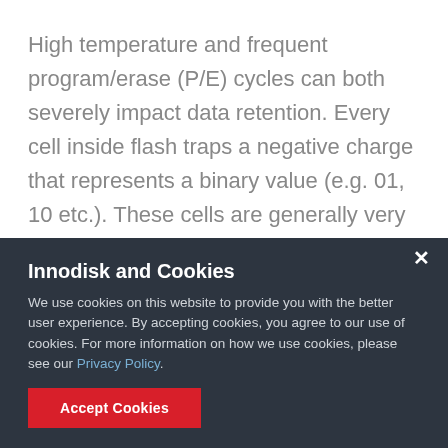High temperature and frequent program/erase (P/E) cycles can both severely impact data retention. Every cell inside flash traps a negative charge that represents a binary value (e.g. 01, 10 etc.). These cells are generally very good at holding on to this charge, but every now and then some of the charge will leak out. Error correction code is normally very good at detecting and fixing the problem.
Innodisk and Cookies
We use cookies on this website to provide you with the better user experience. By accepting cookies, you agree to our use of cookies. For more information on how we use cookies, please see our Privacy Policy.
Accept Cookies